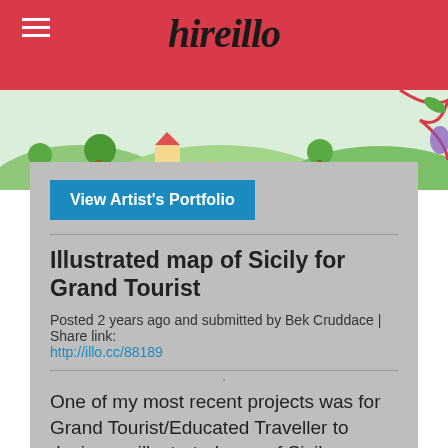hireillo
[Figure (illustration): Colorful illustrated landscape background with houses, trees, flowers, and decorative elements in green, yellow, and red tones]
View Artist's Portfolio
Illustrated map of Sicily for Grand Tourist
Posted 2 years ago and submitted by Bek Cruddace | Share link: http://illo.cc/88189
One of my most recent projects was for Grand Tourist/Educated Traveller to design an illustrated map of Sicily.
The brief behind the map of Sicily was to show some of the places that can be visited while on one of the